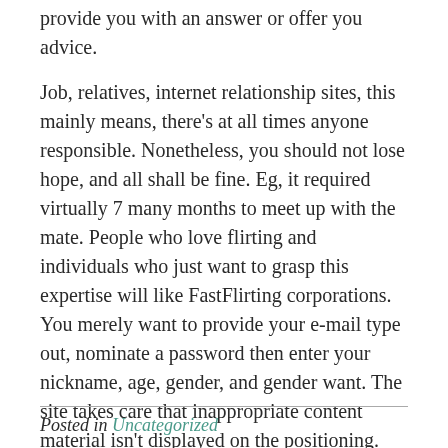provide you with an answer or offer you advice.
Job, relatives, internet relationship sites, this mainly means, there's at all times anyone responsible. Nonetheless, you should not lose hope, and all shall be fine. Eg, it required virtually 7 many months to meet up with the mate. People who love flirting and individuals who just want to grasp this expertise will like FastFlirting corporations. You merely want to provide your e-mail type out, nominate a password then enter your nickname, age, gender, and gender want. The site takes care that inappropriate content material isn't displayed on the positioning. This is helpful for those customers who're receiving a great deal of messages from individuals they aren't thinking about.
Posted in Uncategorized